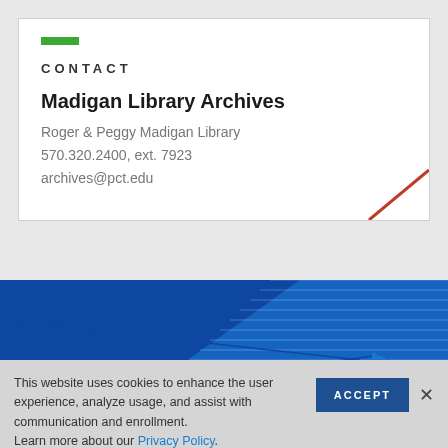CONTACT
Madigan Library Archives
Roger & Peggy Madigan Library
570.320.2400, ext. 7923
archives@pct.edu
[Figure (illustration): Blue banner with diagonal line graphics and arrow pointing right]
This website uses cookies to enhance the user experience, analyze usage, and assist with communication and enrollment.
Learn more about our Privacy Policy.